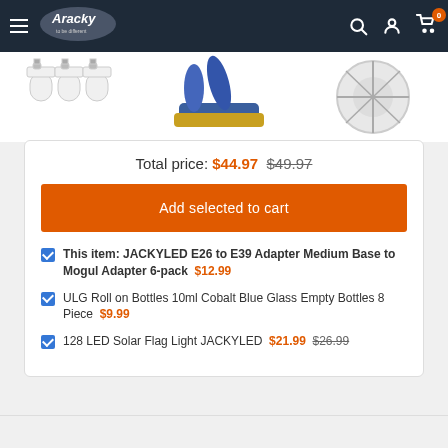Aracky — navigation bar with logo, search, account, and cart icons
[Figure (photo): Three product images: white lamp adapters (E26 to E39), blue cobalt glass roll-on bottles, and a solar flag light wheel]
Total price: $44.97  $49.97
Add selected to cart
This item: JACKYLED E26 to E39 Adapter Medium Base to Mogul Adapter 6-pack  $12.99
ULG Roll on Bottles 10ml Cobalt Blue Glass Empty Bottles 8 Piece  $9.99
128 LED Solar Flag Light JACKYLED  $21.99  $26.99